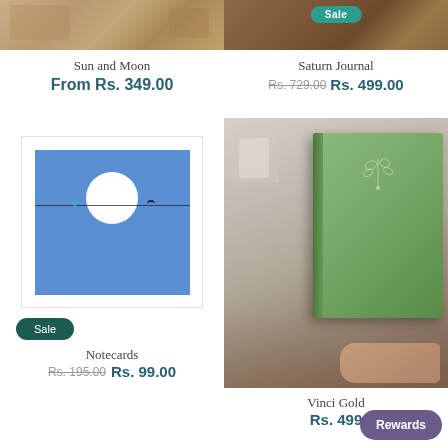[Figure (photo): Product photo top-left: Sun and Moon item on wooden background with fabric]
Sun and Moon
From Rs. 349.00
[Figure (photo): Product photo top-right: Saturn Journal with Sale badge, wooden background]
Saturn Journal
Rs. 729.00  Rs. 499.00
[Figure (photo): Blue notecard product image with white circle and bird on wire design, Sale badge]
Notecards
Rs. 195.00  Rs. 99.00
[Figure (photo): Vinci Gold green journal held by hand on tray with candle and flowers]
Vinci Gold
Rs. 499
Rewards